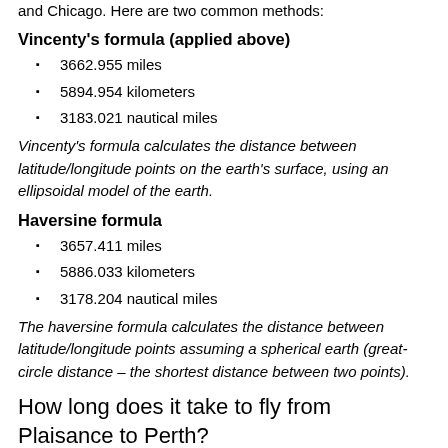and Chicago. Here are two common methods:
Vincenty's formula (applied above)
3662.955 miles
5894.954 kilometers
3183.021 nautical miles
Vincenty's formula calculates the distance between latitude/longitude points on the earth's surface, using an ellipsoidal model of the earth.
Haversine formula
3657.411 miles
5886.033 kilometers
3178.204 nautical miles
The haversine formula calculates the distance between latitude/longitude points assuming a spherical earth (great-circle distance – the shortest distance between two points).
How long does it take to fly from Plaisance to Perth?
Estimated flight time from Port Louis Sir Seewoosagur Ramgoolam International Airport to Perth Airport is 7 hours 26 minutes.